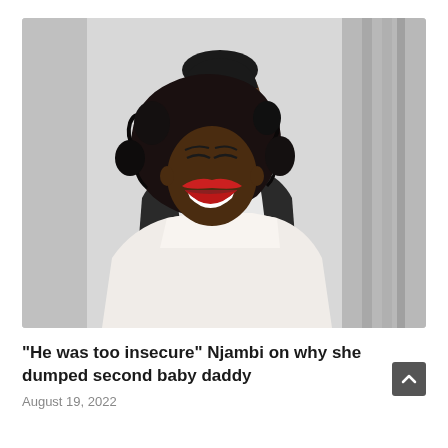[Figure (photo): Black and white photo of a smiling man standing behind a laughing woman. The man wears a black jacket over a white t-shirt with a gold chain necklace and a patterned scarf. The woman has curly black hair and wears red lipstick, laughing broadly. Background shows curtains.]
"He was too insecure" Njambi on why she dumped second baby daddy
August 19, 2022